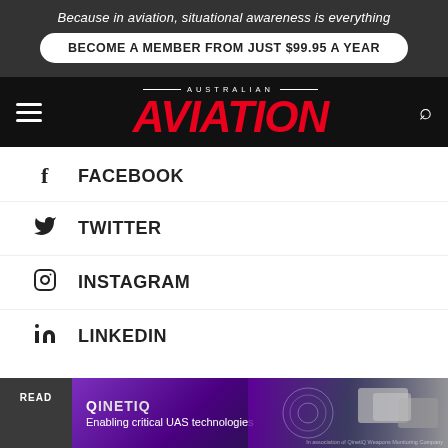Because in aviation, situational awareness is everything
BECOME A MEMBER FROM JUST $99.95 A YEAR
AUSTRALIAN AVIATION
FACEBOOK
TWITTER
INSTAGRAM
LINKEDIN
READ
QINETIQ — Enabling critical UAS technologies